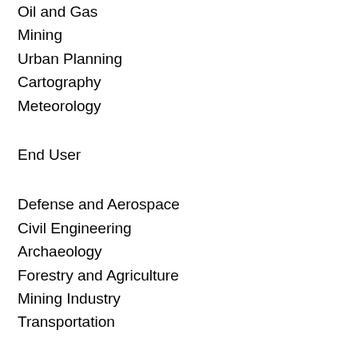Oil and Gas
Mining
Urban Planning
Cartography
Meteorology
End User
Defense and Aerospace
Civil Engineering
Archaeology
Forestry and Agriculture
Mining Industry
Transportation
Light Detection and Ranging (LiDAR) Market Dynamics
This section deals with understanding the market drivers,